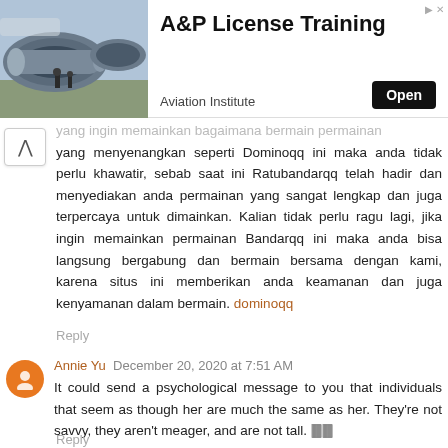[Figure (other): Advertisement banner for A&P License Training from Aviation Institute with an image of jet engines and an Open button]
yang menyenangkan seperti Dominoqq ini maka anda tidak perlu khawatir, sebab saat ini Ratubandarqq telah hadir dan menyediakan anda permainan yang sangat lengkap dan juga terpercaya untuk dimainkan. Kalian tidak perlu ragu lagi, jika ingin memainkan permainan Bandarqq ini maka anda bisa langsung bergabung dan bermain bersama dengan kami, karena situs ini memberikan anda keamanan dan juga kenyamanan dalam bermain. dominoqq
Reply
Annie Yu  December 20, 2020 at 7:51 AM
It could send a psychological message to you that individuals that seem as though her are much the same as her. They're not savvy, they aren't meager, and are not tall. 🀫🀫
Reply